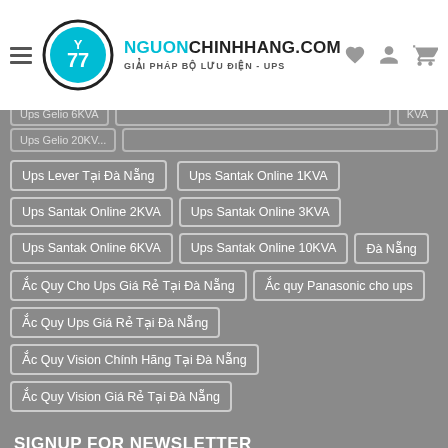NGUONCHINHHANG.COM - GIẢI PHÁP BỘ LƯU ĐIỆN - UPS
Ups Lever Tại Đà Nẵng
Ups Santak Online 1KVA
Ups Santak Online 2KVA
Ups Santak Online 3KVA
Ups Santak Online 6KVA
Ups Santak Online 10KVA
Đà Nẵng
Ắc Quy Cho Ups Giá Rẻ Tại Đà Nẵng
Ắc quy Panasonic cho ups
Ắc Quy Ups Giá Rẻ Tại Đà Nẵng
Ắc Quy Vision Chính Hãng Tại Đà Nẵng
Ắc Quy Vision Giá Rẻ Tại Đà Nẵng
SIGNUP FOR NEWSLETTER
Lorem ipsum dolor sit amet, consectetuer adipiscing elit, sed diam nonummy nibh euismod tincidunt ut laoreet.